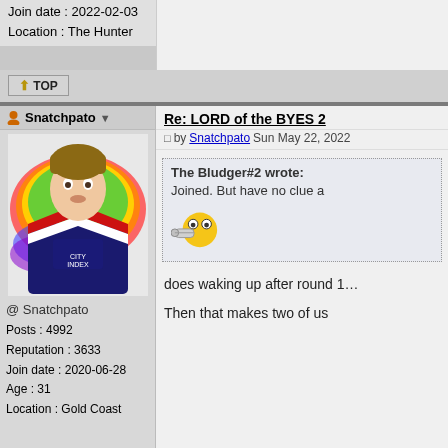Join date : 2022-02-03
Location : The Hunter
⬆ TOP
Snatchpato
[Figure (photo): Avatar photo of a young male rugby player wearing a Sydney Roosters jersey with a rainbow paint splash background]
@ Snatchpato
Posts : 4992
Reputation : 3633
Join date : 2020-06-28
Age : 31
Location : Gold Coast
Re: LORD of the BYES 2
by Snatchpato Sun May 22, 2022
The Bludger#2 wrote:
Joined. But have no clue a [whistle emoji]
does waking up after round 1…
Then that makes two of us